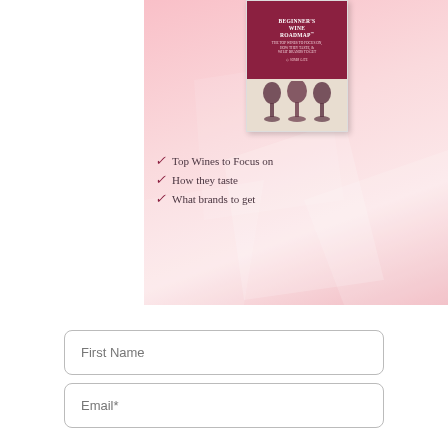[Figure (illustration): Pink background banner with a book cover titled 'BEGINNERS WINE ROADMAP' with a dark red/maroon cover, and decorative geometric pink shapes in the background]
✓ Top Wines to Focus on
✓ How they taste
✓ What brands to get
First Name
Email*